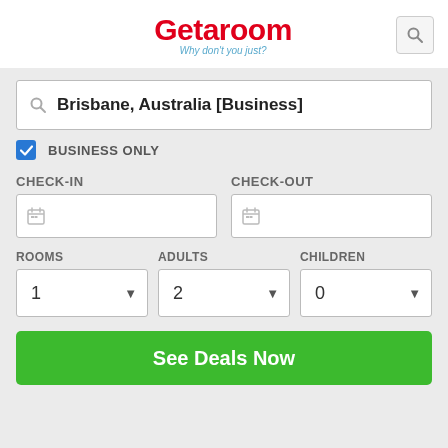Getaroom — Why don't you just?
Brisbane, Australia [Business]
BUSINESS ONLY
CHECK-IN
CHECK-OUT
ROOMS
ADULTS
CHILDREN
1
2
0
See Deals Now